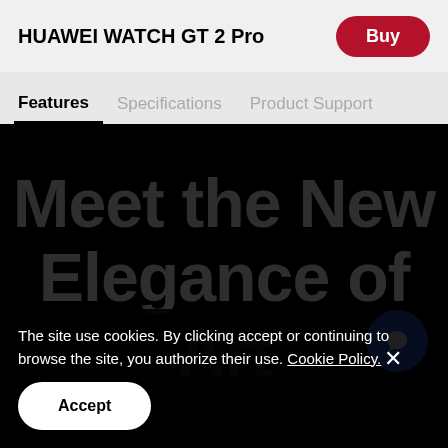HUAWEI WATCH GT 2 Pro
Buy
Features
Specifications
Product Support
[Figure (photo): Black hero image area for HUAWEI WATCH GT 2 Pro product page with large text overlaid: Meet the New Elegance of Art]
Meet the New Elegance of Art
[Figure (illustration): Blue circle chat/support button with white speech bubble icon]
The site use cookies. By clicking accept or continuing to browse the site, you authorize their use. Cookie Policy.
Accept